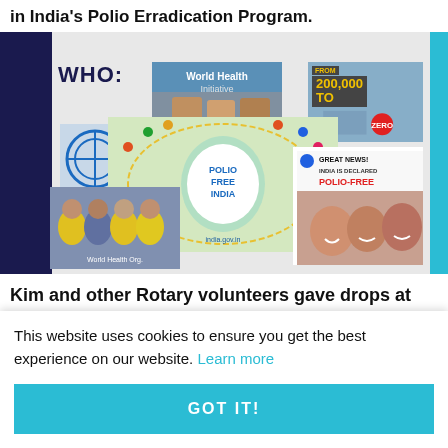in India's Polio Erradication Program.
[Figure (photo): Collage of images related to India's Polio Eradication Program, featuring WHO logo, Polio Free India badge, news about India declared Polio-Free, children photos, and health workers in yellow jackets.]
Kim and other Rotary volunteers gave drops at
This website uses cookies to ensure you get the best experience on our website. Learn more
GOT IT!